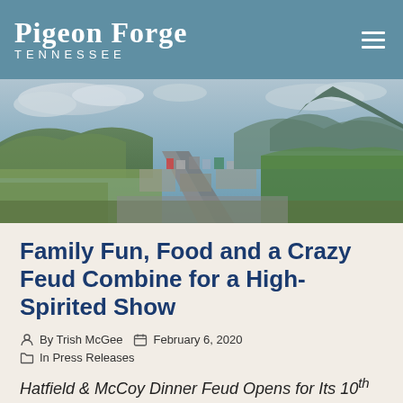PIGEON FORGE TENNESSEE
[Figure (photo): Aerial view of Pigeon Forge, Tennessee showing the main strip with mountains in the background and overcast sky]
Family Fun, Food and a Crazy Feud Combine for a High-Spirited Show
By Trish McGee  February 6, 2020
In Press Releases
Hatfield & McCoy Dinner Feud Opens for Its 10th Season in 2020